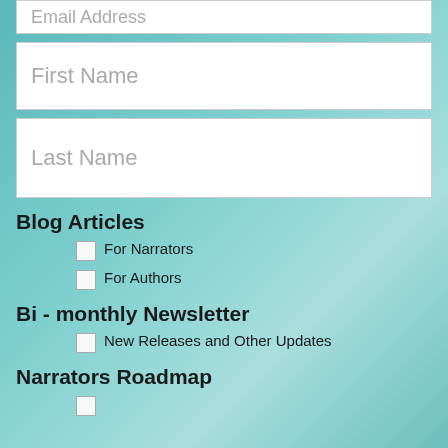[Figure (other): Email Address input field (partially visible at top)]
[Figure (other): First Name input field]
[Figure (other): Last Name input field]
Blog Articles
For Narrators (checkbox)
For Authors (checkbox)
Bi - monthly Newsletter
New Releases and Other Updates (checkbox)
Narrators Roadmap
(checkbox, partially visible)